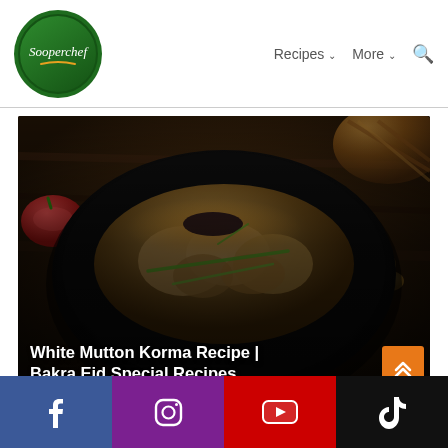[Figure (logo): Sooperchef logo — dark green circle with white italic text 'Sooperchef' and a swoosh]
Recipes ∨   More ∨   🔍
[Figure (photo): White Mutton Korma in a dark bowl garnished with green scallions, on a dark wooden surface with tomato and nuts visible]
White Mutton Korma Recipe | Bakra Eid Special Recipes
[Figure (infographic): Social media bar with Facebook (blue), Instagram (purple), YouTube (red), TikTok (black) icons]